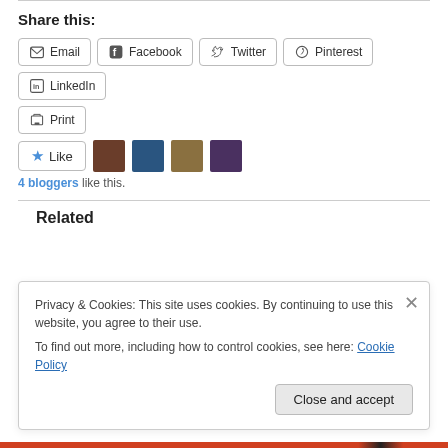Share this:
Email  Facebook  Twitter  Pinterest  LinkedIn  Print
[Figure (other): Like button with star icon and four blogger avatar thumbnails]
4 bloggers like this.
Related
Privacy & Cookies: This site uses cookies. By continuing to use this website, you agree to their use. To find out more, including how to control cookies, see here: Cookie Policy
Close and accept